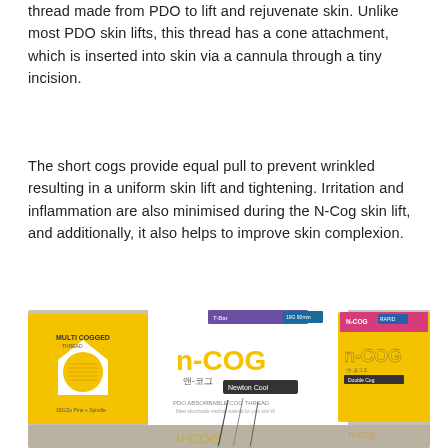thread made from PDO to lift and rejuvenate skin. Unlike most PDO skin lifts, this thread has a cone attachment, which is inserted into skin via a cannula through a tiny incision.
The short cogs provide equal pull to prevent wrinkled resulting in a uniform skin lift and tightening. Irritation and inflammation are also minimised during the N-Cog skin lift, and additionally, it also helps to improve skin complexion.
[Figure (photo): Photo of N-COG multi cogged PDO absorbable cog thread product boxes in yellow and white packaging, with needles displayed in front on a reflective surface.]